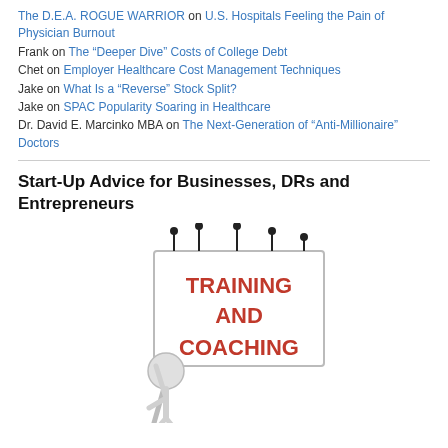The D.E.A. ROGUE WARRIOR on U.S. Hospitals Feeling the Pain of Physician Burnout
Frank on The “Deeper Dive” Costs of College Debt
Chet on Employer Healthcare Cost Management Techniques
Jake on What Is a “Reverse” Stock Split?
Jake on SPAC Popularity Soaring in Healthcare
Dr. David E. Marcinko MBA on The Next-Generation of “Anti-Millionaire” Doctors
Start-Up Advice for Businesses, DRs and Entrepreneurs
[Figure (illustration): Illustration of a white stick figure person holding up a sign that reads TRAINING AND COACHING in red bold letters, with microphones on top of the sign.]